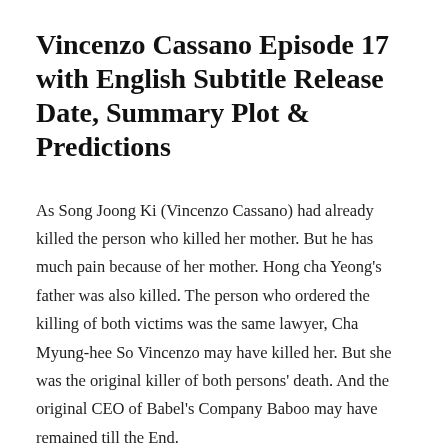Vincenzo Cassano Episode 17 with English Subtitle Release Date, Summary Plot & Predictions
As Song Joong Ki (Vincenzo Cassano) had already killed the person who killed her mother. But he has much pain because of her mother. Hong cha Yeong's father was also killed. The person who ordered the killing of both victims was the same lawyer, Cha Myung-hee So Vincenzo may have killed her. But she was the original killer of both persons' death. And the original CEO of Babel's Company Baboo may have remained till the End.
From The Preview of Episode 17, It could be predicted that they killed Vincenzo's Best friend Mr.Cho. Lawyer Cha